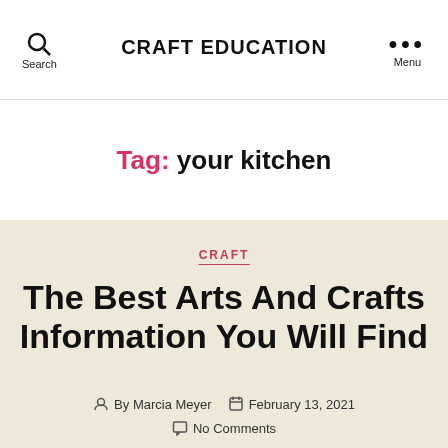CRAFT EDUCATION
Tag: your kitchen
CRAFT
The Best Arts And Crafts Information You Will Find
By Marcia Meyer  February 13, 2021
No Comments